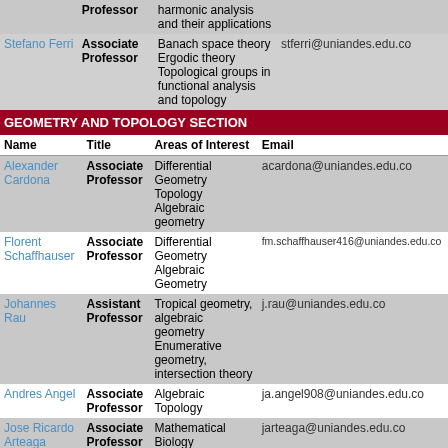| Name | Title | Areas of Interest | Email |
| --- | --- | --- | --- |
|  | Professor | harmonic analysis and their applications |  |
| Stefano Ferri | Associate Professor | Banach space theory
Ergodic theory
Topological groups in functional analysis and topology | stferri@uniandes.edu.co |
GEOMETRY AND TOPOLOGY SECTION
| Name | Title | Areas of Interest | Email |
| --- | --- | --- | --- |
| Alexander Cardona | Associate Professor | Differential Geometry
Topology
Algebraic geometry | acardona@uniandes.edu.co |
| Florent Schaffhauser | Associate Professor | Differential Geometry
Algebraic Geometry | fm.schaffhauser416@uniandes.edu.co |
| Johannes Rau | Assistant Professor | Tropical geometry, algebraic geometry
Enumerative geometry, intersection theory | j.rau@uniandes.edu.co |
| Andres Angel | Associate Professor | Algebraic Topology | ja.angel908@uniandes.edu.co |
| Jose Ricardo Arteaga | Associate Professor | Mathematical Biology (Epidemiological Models), | jarteaga@uniandes.edu.co |